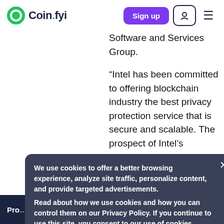[Figure (logo): Coin.fyi logo with teal circular icon and dark blue text 'Coin.fyi' with green dot on the period]
Sign up
Software and Services Group.
“Intel has been committed to offering blockchain industry the best privacy protection service that is secure and scalable. The prospect of Intel’s
We use cookies to offer a better browsing experience, analyze site traffic, personalize content, and provide targeted advertisements.
Read about how we use cookies and how you can control them on our Privacy Policy. If you continue to use this site, you consent to our use of cookies.
Pro… feedback on Coin.fyi 2.0